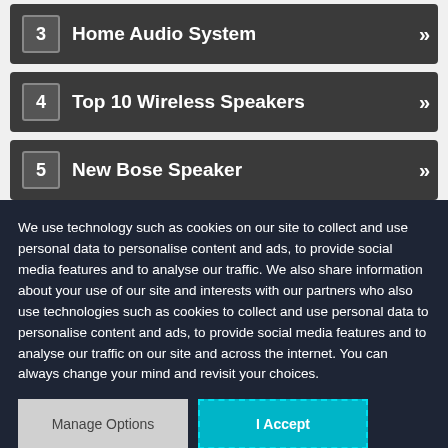3 Home Audio System
4 Top 10 Wireless Speakers
5 New Bose Speaker
We use technology such as cookies on our site to collect and use personal data to personalise content and ads, to provide social media features and to analyse our traffic. We also share information about your use of our site and interests with our partners who also use technologies such as cookies to collect and use personal data to personalise content and ads, to provide social media features and to analyse our traffic on our site and across the internet. You can always change your mind and revisit your choices.
Manage Options | I Accept